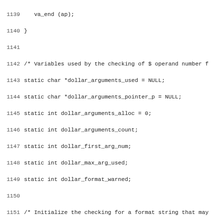Source code listing lines 1139-1170 showing C code for dollar argument format checking functions including variable declarations and init_dollar_format_checking function.